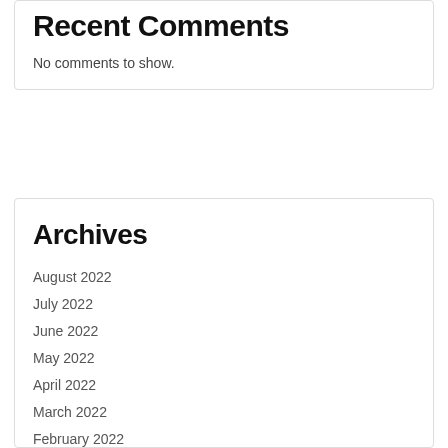Recent Comments
No comments to show.
Archives
August 2022
July 2022
June 2022
May 2022
April 2022
March 2022
February 2022
January 2022